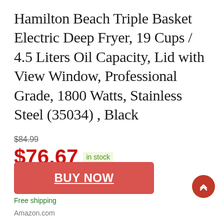Hamilton Beach Triple Basket Electric Deep Fryer, 19 Cups / 4.5 Liters Oil Capacity, Lid with View Window, Professional Grade, 1800 Watts, Stainless Steel (35034) , Black
$84.99 (strikethrough)
$76.67 in stock
2 new from $76.67
2 used from $65.17
Free shipping
BUY NOW
Amazon.com